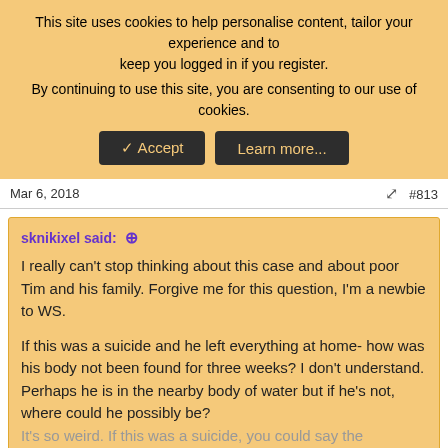This site uses cookies to help personalise content, tailor your experience and to keep you logged in if you register. By continuing to use this site, you are consenting to our use of cookies.
✓ Accept | Learn more...
Mar 6, 2018  #813
sknikixel said: ↑

I really can't stop thinking about this case and about poor Tim and his family. Forgive me for this question, I'm a newbie to WS.

If this was a suicide and he left everything at home- how was his body not been found for three weeks? I don't understand. Perhaps he is in the nearby body of water but if he's not, where could he possibly be? It's so weird. If this was a suicide, you could say the discussion with the neighbor's wife was a form of premeditation, same with the phone...

Click to expand...
Checking in on Timothy- My husband said his dissapearance